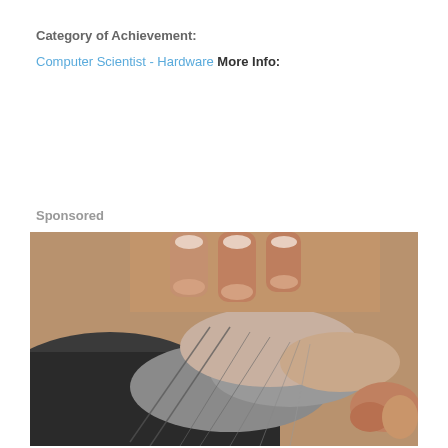Category of Achievement:
Computer Scientist - Hardware More Info:
Sponsored
[Figure (photo): Close-up photograph of hands with fingers parting gray hair on a person's scalp and neck, showing the skin and hair follicles, possibly in a medical or dermatological context.]